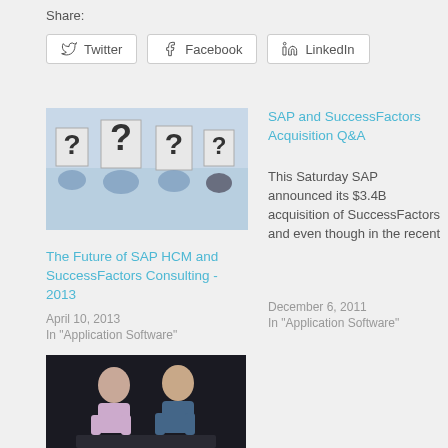Share:
[Figure (other): Social share buttons: Twitter, Facebook, LinkedIn]
[Figure (photo): People holding up question mark signs, representing SAP HCM and SuccessFactors consulting article thumbnail]
The Future of SAP HCM and SuccessFactors Consulting - 2013
April 10, 2013
In "Application Software"
SAP and SuccessFactors Acquisition Q&A
This Saturday SAP announced its $3.4B acquisition of SuccessFactors and even though in the recent
December 6, 2011
In "Application Software"
[Figure (photo): Two men sitting together, one in a suit, at what appears to be a panel or interview setting with dark background]